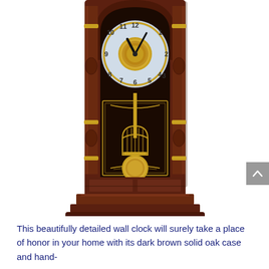[Figure (photo): A beautifully detailed pendulum wall clock with a dark brown solid oak case. The clock features an arched top with decorative carved columns on each side, gold accent rings, a round clock face with gold Arabic numerals on a silver/blue dial, gold filigree center medallion, black ornate hands, a dark panel below the clock face with gold decorative borders and scroll motifs, a gold lyre-shaped pendulum support, and a large round brass pendulum bob. The base has a stepped shelf design.]
This beautifully detailed wall clock will surely take a place of honor in your home with its dark brown solid oak case and hand-